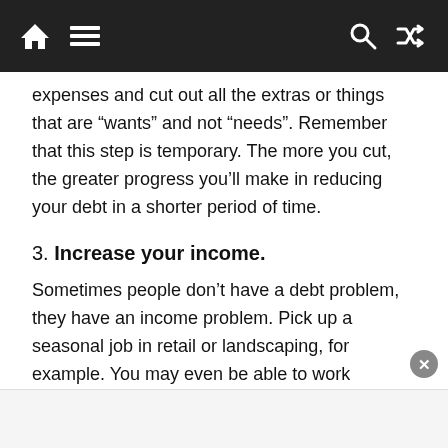Navigation bar with home, menu, search, and shuffle icons
expenses and cut out all the extras or things that are “wants” and not “needs”. Remember that this step is temporary. The more you cut, the greater progress you’ll make in reducing your debt in a shorter period of time.
3. Increase your income.
Sometimes people don’t have a debt problem, they have an income problem. Pick up a seasonal job in retail or landscaping, for example. You may even be able to work towards a promotion at your current job. Yard sales and garage sales help bring in a bit of extra cash that can go towards